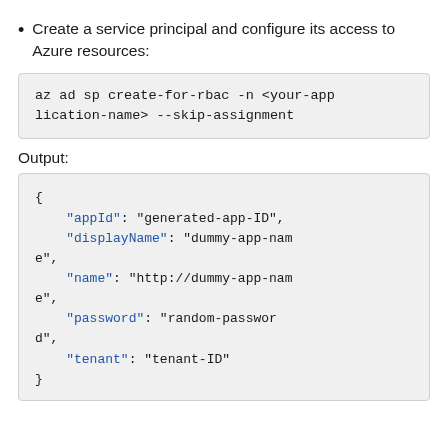Create a service principal and configure its access to Azure resources:
az ad sp create-for-rbac -n <your-application-name> --skip-assignment
Output:
{
    "appId": "generated-app-ID",
    "displayName": "dummy-app-name",
    "name": "http://dummy-app-name",
    "password": "random-password",
    "tenant": "tenant-ID"
}